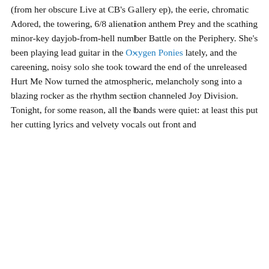(from her obscure Live at CB's Gallery ep), the eerie, chromatic Adored, the towering, 6/8 alienation anthem Prey and the scathing minor-key dayjob-from-hell number Battle on the Periphery. She's been playing lead guitar in the Oxygen Ponies lately, and the careening, noisy solo she took toward the end of the unreleased Hurt Me Now turned the atmospheric, melancholy song into a blazing rocker as the rhythm section channeled Joy Division. Tonight, for some reason, all the bands were quiet: at least this put her cutting lyrics and velvety vocals out front and
Privacy & Cookies: This site uses cookies. By continuing to use this website, you agree to their use.
To find out more, including how to control cookies, see here: Cookie Policy